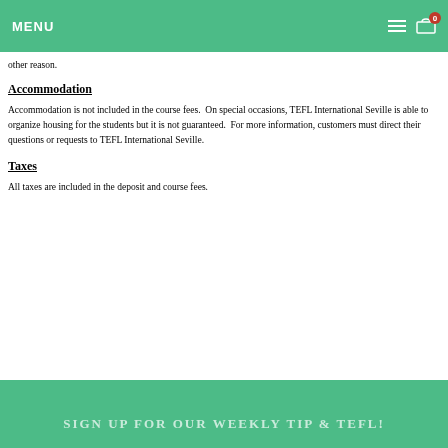MENU
other reason.
Accommodation
Accommodation is not included in the course fees.  On special occasions, TEFL International Seville is able to organize housing for the students but it is not guaranteed.  For more information, customers must direct their questions or requests to TEFL International Seville.
Taxes
All taxes are included in the deposit and course fees.
SIGN UP FOR OUR WEEKLY TIP & TEFL!